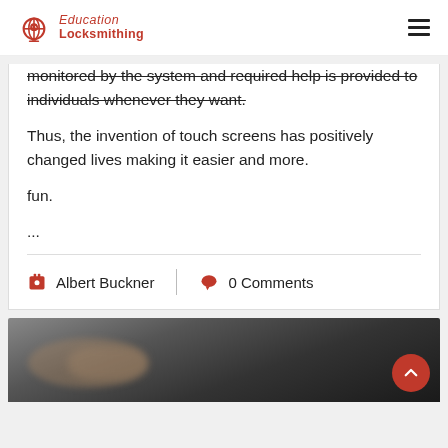Locksmithing Education
monitored by the system and required help is provided to individuals whenever they want.
Thus, the invention of touch screens has positively changed lives making it easier and more.
fun.
...
Albert Buckner   0 Comments
[Figure (photo): Dark blurred photo of hands, partially visible at the bottom of the page]